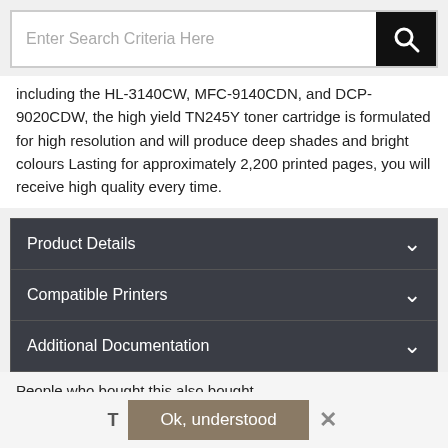[Figure (screenshot): Search bar with placeholder text 'Enter Search Criteria Here' and a black search button with magnifying glass icon]
including the HL-3140CW, MFC-9140CDN, and DCP-9020CDW, the high yield TN245Y toner cartridge is formulated for high resolution and will produce deep shades and bright colours Lasting for approximately 2,200 printed pages, you will receive high quality every time.
Product Details
Compatible Printers
Additional Documentation
People who bought this also bought
Recent Products